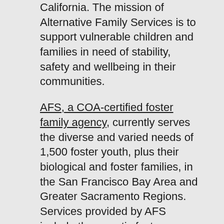California. The mission of Alternative Family Services is to support vulnerable children and families in need of stability, safety and wellbeing in their communities.
AFS, a COA-certified foster family agency, currently serves the diverse and varied needs of 1,500 foster youth, plus their biological and foster families, in the San Francisco Bay Area and Greater Sacramento Regions. Services provided by AFS include therapeutic foster care, Intensive Services Foster Care, support for foster children with developmental disabilities, therapeutic visitation, community-based mental health services, transitional housing support, independent life skills training, and much more.
In response to the COVID-19 pandemic, COA made adaptations to the Site Visit, a foundational part of the accreditation review. Incorporating feedback from our